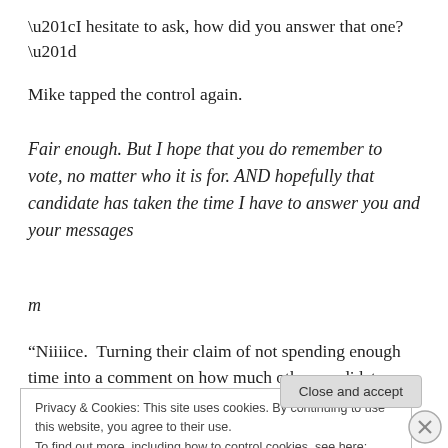“I hesitate to ask, how did you answer that one?”
Mike tapped the control again.
Fair enough. But I hope that you do remember to vote, no matter who it is for. AND hopefully that candidate has taken the time I have to answer you and your messages
m
“Niiiice.  Turning their claim of not spending enough time into a comment on how much other candidates have spent
Privacy & Cookies: This site uses cookies. By continuing to use this website, you agree to their use.
To find out more, including how to control cookies, see here: Cookie Policy
Close and accept